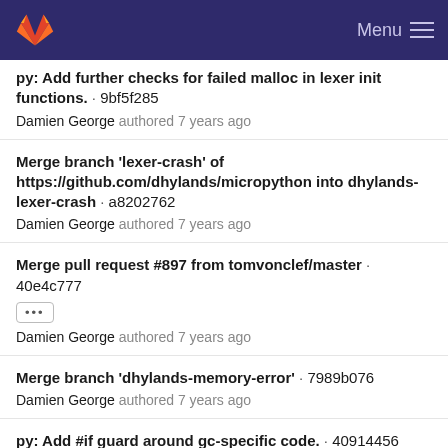GitLab — Menu
py: Add further checks for failed malloc in lexer init functions. · 9bf5f285
Damien George authored 7 years ago
Merge branch 'lexer-crash' of https://github.com/dhylands/micropython into dhylands-lexer-crash · a8202762
Damien George authored 7 years ago
Merge pull request #897 from tomvonclef/master · 40e4c777
···
Damien George authored 7 years ago
Merge branch 'dhylands-memory-error' · 7989b076
Damien George authored 7 years ago
py: Add #if guard around gc-specific code. · 40914456
Damien George authored 7 years ago
Make lexer fail gracefully when memory can't be allocated…